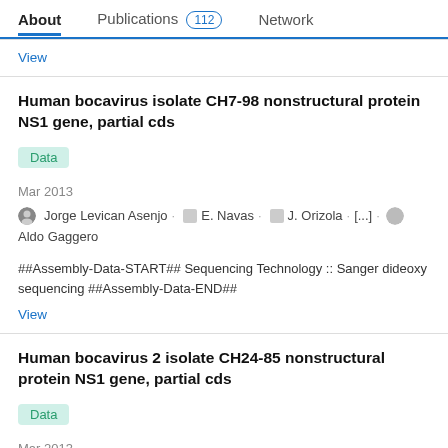About   Publications 112   Network
View
Human bocavirus isolate CH7-98 nonstructural protein NS1 gene, partial cds
Data
Mar 2013
Jorge Levican Asenjo · E. Navas · J. Orizola · [...] · Aldo Gaggero
##Assembly-Data-START## Sequencing Technology :: Sanger dideoxy sequencing ##Assembly-Data-END##
View
Human bocavirus 2 isolate CH24-85 nonstructural protein NS1 gene, partial cds
Data
Mar 2013